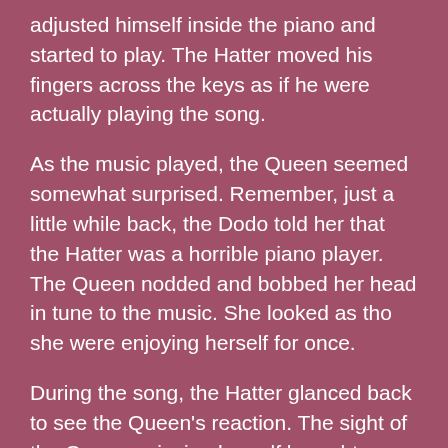adjusted himself inside the piano and started to play. The Hatter moved his fingers across the keys as if he were actually playing the song.
As the music played, the Queen seemed somewhat surprised. Remember, just a little while back, the Dodo told her that the Hatter was a horrible piano player. The Queen nodded and bobbed her head in tune to the music. She looked as tho she were enjoying herself for once.
During the song, the Hatter glanced back to see the Queen's reaction. The sight of the Queen enjoying herself brought a huge sigh of relief to the Hatter. He continued to play until the song was finished. The Queen then nodded and asked for another song to be played.